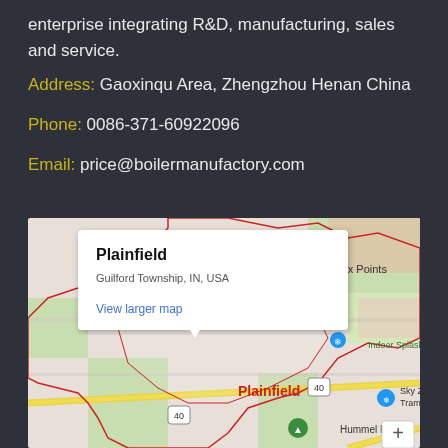enterprise integrating R&D, manufacturing, sales and service.
Address: Gaoxinqu Area, Zhengzhou Henan China
Phone: 0086-371-60922096
Email: price@boilermanufactory.com
[Figure (map): Google Map showing Plainfield, Guilford Township, IN, USA with popup info box. Map shows surrounding area including Six Points, Indoor Splash Island, Hummel Park, Sky Zone Trampoline. Roads including Route 40 and Route 70 visible.]